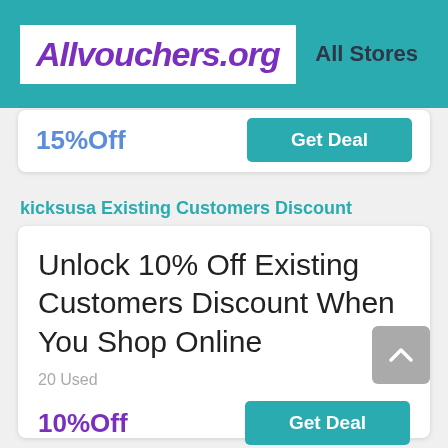Allvouchers.org  All Stores
15%Off
Get Deal
kicksusa Existing Customers Discount
Unlock 10% Off Existing Customers Discount When You Shop Online
20 Used
10%Off
Get Deal